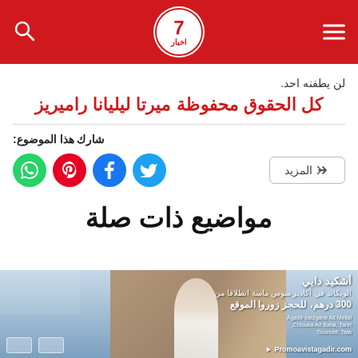7akhbar logo header with hamburger menu and search icon
لن يطفنه احد.
كل الحقوق محفوظة ميرتا ليليانا راميريز
شارك هذا الموضوع:
مواضيع ذات صلة
[Figure (photo): Advertisement banner for Promoavistagadir.com showing a hotel in Agadir, Souss with a woman in a white dress and straw hat, mountains in background. Text: الويكاند في أكادير سوس ماسة انطلاقا من 300 درهم، للحجز زوروا الموقع. Promoavistagadir.com]